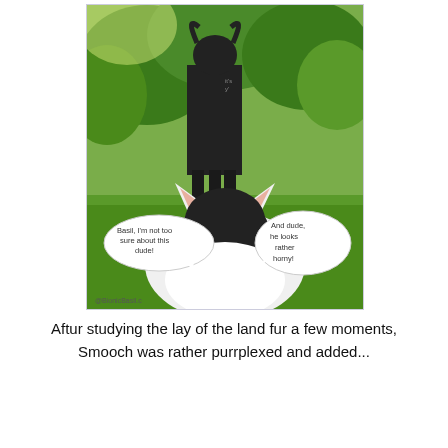[Figure (photo): A cat (black and white, seen from behind) sitting on grass looking up at a dark bull/goat statue with horns in a garden. Two speech bubbles: left bubble says 'Basil, I'm not too sure about this dude!' and right bubble says 'And dude, he looks rather horny!' Watermark: @BionicBasil.c]
Aftur studying the lay of the land fur a few moments, Smooch was rather purrplexed and added...